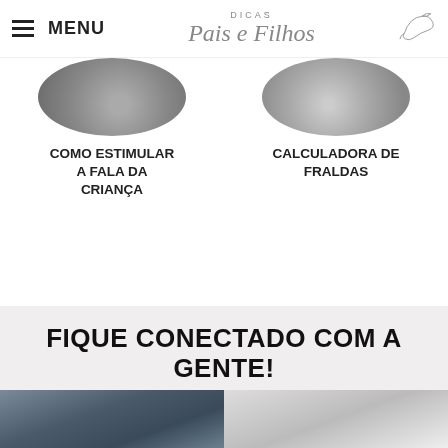MENU | Dicas Pais e Filhos
COMO ESTIMULAR A FALA DA CRIANÇA
CALCULADORA DE FRALDAS
FIQUE CONECTADO COM A GENTE!
INSTAGRAM
[Figure (photo): Two circular thumbnail photos of children/people, partially cropped at top]
[Figure (photo): Two partially visible square photos at the bottom of the page]